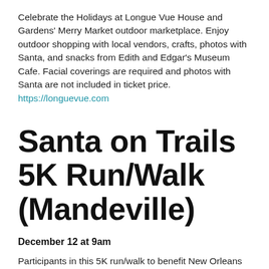Celebrate the Holidays at Longue Vue House and Gardens' Merry Market outdoor marketplace. Enjoy outdoor shopping with local vendors, crafts, photos with Santa, and snacks from Edith and Edgar's Museum Cafe. Facial coverings are required and photos with Santa are not included in ticket price. https://longuevue.com
Santa on Trails 5K Run/Walk (Mandeville)
December 12 at 9am
Participants in this 5K run/walk to benefit New Orleans Mission shelter are invited to wear a Santa suit and bring a